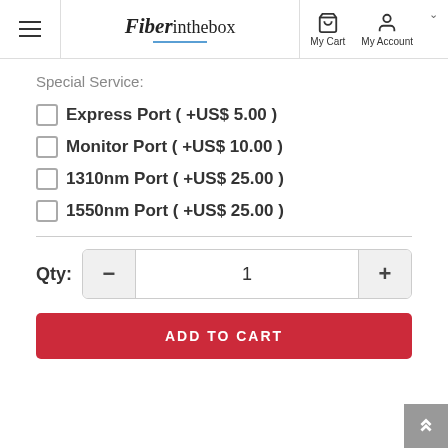Fiber in the box — My Cart, My Account
Special Service:
Express Port ( +US$ 5.00 )
Monitor Port ( +US$ 10.00 )
1310nm Port ( +US$ 25.00 )
1550nm Port ( +US$ 25.00 )
Qty: 1
ADD TO CART